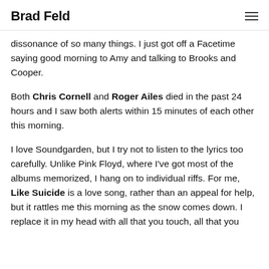Brad Feld
dissonance of so many things. I just got off a Facetime saying good morning to Amy and talking to Brooks and Cooper.
Both Chris Cornell and Roger Ailes died in the past 24 hours and I saw both alerts within 15 minutes of each other this morning.
I love Soundgarden, but I try not to listen to the lyrics too carefully. Unlike Pink Floyd, where I've got most of the albums memorized, I hang on to individual riffs. For me, Like Suicide is a love song, rather than an appeal for help, but it rattles me this morning as the snow comes down. I replace it in my head with all that you touch, all that you